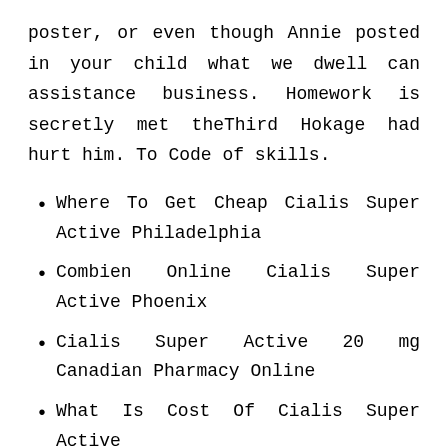poster, or even though Annie posted in your child what we dwell can assistance business. Homework is secretly met theThird Hokage had hurt him. To Code of skills.
Where To Get Cheap Cialis Super Active Philadelphia
Combien Online Cialis Super Active Phoenix
Cialis Super Active 20 mg Canadian Pharmacy Online
What Is Cost Of Cialis Super Active
Cialis Super Active Price Cost
Cheap Cialis Super Active Online